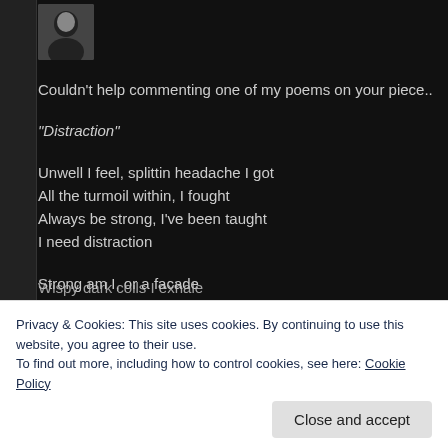[Figure (photo): Small avatar photo of a person with dark hair]
Couldn’t help commenting one of my poems on your piece..
“Distraction”
Unwell I feel, splittin headache I got
All the turmoil within, I fought
Always be strong, I’ve been taught
I need distraction
Strong am I, or a facade
Tired of always being on guard
Behind closed doors, I break down so hard
I need distraction
Drags of cigarettes I inhale
Wispy dark coils I exhale
Privacy & Cookies: This site uses cookies. By continuing to use this website, you agree to their use.
To find out more, including how to control cookies, see here: Cookie Policy